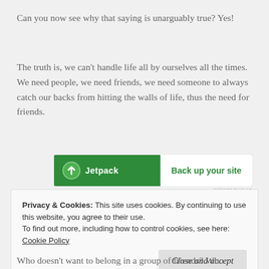Can you now see why that saying is unarguably true? Yes!
The truth is, we can't handle life all by ourselves all the times. We need people, we need friends, we need someone to always catch our backs from hitting the walls of life, thus the need for friends.
[Figure (other): Jetpack advertisement banner with green background, logo and 'Back up your site' call to action button]
REPORT THIS AD
Privacy & Cookies: This site uses cookies. By continuing to use this website, you agree to their use.
To find out more, including how to control cookies, see here: Cookie Policy
Close and accept
Who doesn't want to belong in a group of friends? Who